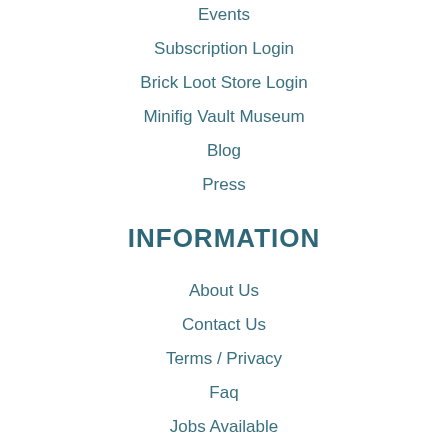Events
Subscription Login
Brick Loot Store Login
Minifig Vault Museum
Blog
Press
INFORMATION
About Us
Contact Us
Terms / Privacy
Faq
Jobs Available
LED Light Kit Instructions
SHOP